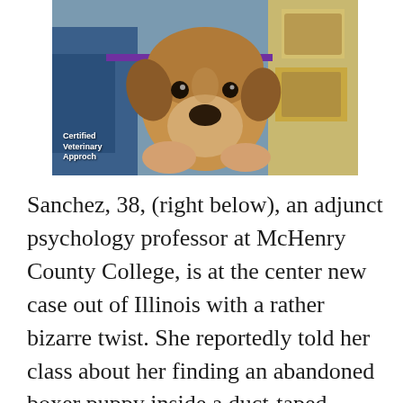[Figure (photo): A boxer puppy being held up, close-up portrait. Person wearing a blue shirt with 'Certified Veterinary Approch' text visible. Background shows colorful shelving/storage.]
Sanchez, 38, (right below), an adjunct psychology professor at McHenry County College, is at the center new case out of Illinois with a rather bizarre twist. She reportedly told her class about her finding an abandoned boxer puppy inside a duct-taped pillowcase. The incident was